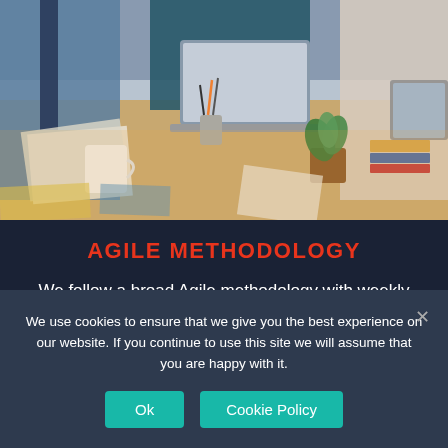[Figure (photo): Office meeting scene: people around a table with laptops, papers, a coffee cup, pens, and a small plant, viewed from above at an angle.]
AGILE METHODOLOGY
We follow a broad Agile methodology with weekly sprints and run dynamic pods combining expertise in UX, APIs, Database, Workflow and GIS principles
We use cookies to ensure that we give you the best experience on our website. If you continue to use this site we will assume that you are happy with it.
Ok
Cookie Policy